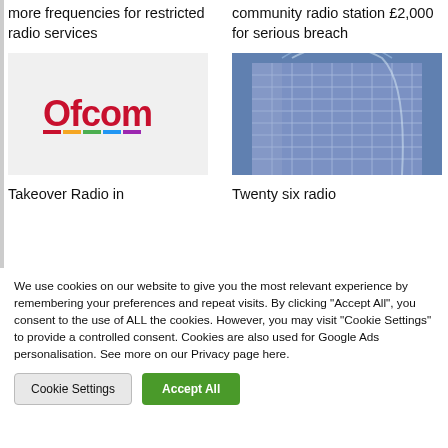more frequencies for restricted radio services
community radio station £2,000 for serious breach
[Figure (logo): Ofcom logo on light grey background]
[Figure (photo): Modern glass office building with blue tint]
Takeover Radio in
Twenty six radio
We use cookies on our website to give you the most relevant experience by remembering your preferences and repeat visits. By clicking "Accept All", you consent to the use of ALL the cookies. However, you may visit "Cookie Settings" to provide a controlled consent. Cookies are also used for Google Ads personalisation. See more on our Privacy page here.
Cookie Settings
Accept All